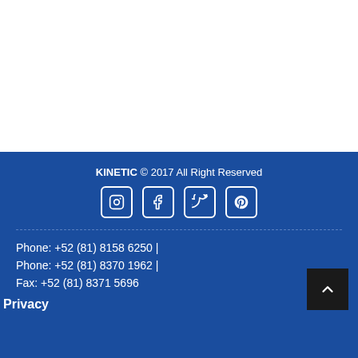KINETIC © 2017 All Right Reserved
[Figure (illustration): Social media icons: Instagram, Facebook, Twitter, Pinterest — white icons in rounded square borders on blue background]
Phone: +52 (81) 8158 6250 |
Phone: +52 (81) 8370 1962 |
Fax: +52 (81) 8371 5696
Privacy